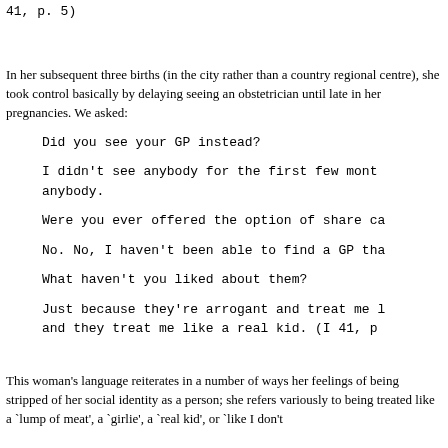41, p. 5)
In her subsequent three births (in the city rather than a country regional centre), she took control basically by delaying seeing an obstetrician until late in her pregnancies. We asked:
Did you see your GP instead?
I didn't see anybody for the first few months. I didn't see anybody.
Were you ever offered the option of share care?
No. No, I haven't been able to find a GP that...
What haven't you liked about them?
Just because they're arrogant and treat me like... and they treat me like a real kid. (I 41, p...
This woman's language reiterates in a number of ways her feelings of being stripped of her social identity as a person; she refers variously to being treated like a `lump of meat', a `girlie', a `real kid', or `like I don't...